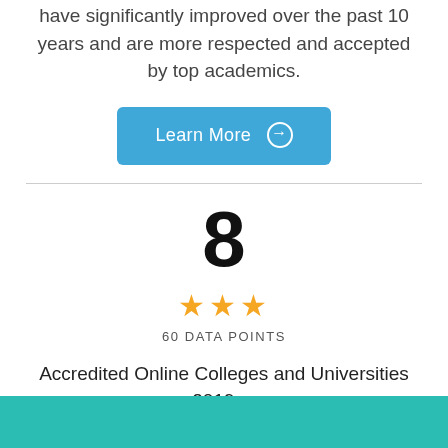have significantly improved over the past 10 years and are more respected and accepted by top academics.
Learn More →
8
★★★
60 DATA POINTS
Accredited Online Colleges and Universities 2019 ...
[Figure (other): Teal/turquoise colored banner bar at the bottom of the page]